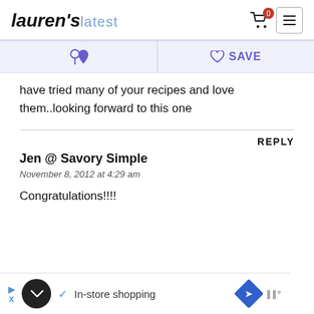Lauren's latest — navigation header with cart and menu icons
[Figure (screenshot): Action bar with Pinterest icon button and Save/heart button on lavender background]
have tried many of your recipes and love them..looking forward to this one
REPLY
Jen @ Savory Simple
November 8, 2012 at 4:29 am
Congratulations!!!!
[Figure (screenshot): Advertisement bar at bottom: In-store shopping with navigation icons]